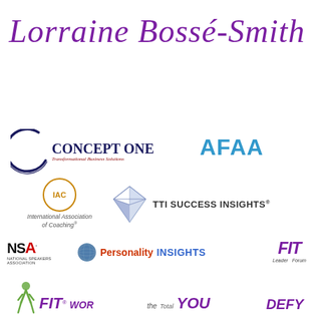Lorraine Bossé-Smith
[Figure (logo): Concept One Transformational Business Solutions logo with dark blue arc and text]
[Figure (logo): AFAA logo in blue bold text]
[Figure (logo): IAC International Association of Coaching circle logo in gold/orange]
[Figure (logo): TTI Success Insights logo with diamond gem icon]
[Figure (logo): NSA National Speakers Association logo]
[Figure (logo): Personality Insights logo with globe icon]
[Figure (logo): FIT Leader Forum logo in purple italic]
[Figure (logo): FIT Works logo in purple italic]
[Figure (logo): The Total YOU logo in purple italic]
[Figure (logo): DEFY YOU logo in purple italic]